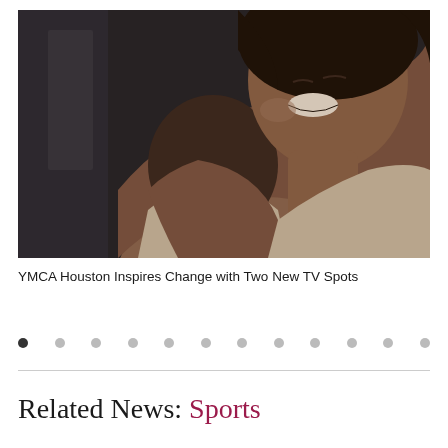[Figure (photo): A smiling woman with curly dark hair hugging a child, photographed in a warm embrace. The background is dark/dimly lit. The image is in color.]
YMCA Houston Inspires Change with Two New TV Spots
Related News: Sports